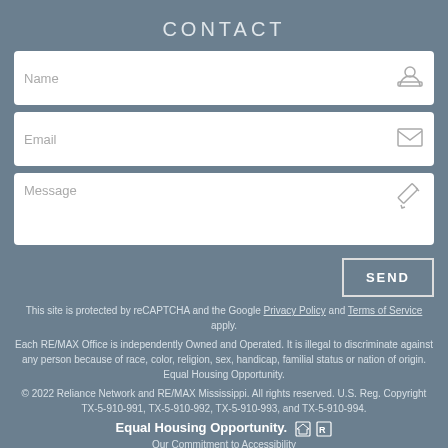CONTACT
[Figure (other): Name input field with person/user icon]
[Figure (other): Email input field with envelope/mail icon]
[Figure (other): Message input field with pencil/edit icon]
[Figure (other): SEND button]
This site is protected by reCAPTCHA and the Google Privacy Policy and Terms of Service apply.
Each RE/MAX Office is independently Owned and Operated. It is illegal to discriminate against any person because of race, color, religion, sex, handicap, familial status or nation of origin. Equal Housing Opportunity.
© 2022 Reliance Network and RE/MAX Mississippi. All rights reserved. U.S. Reg. Copyright TX-5-910-991, TX-5-910-992, TX-5-910-993, and TX-5-910-994.
Equal Housing Opportunity.
Our Commitment to Accessibility